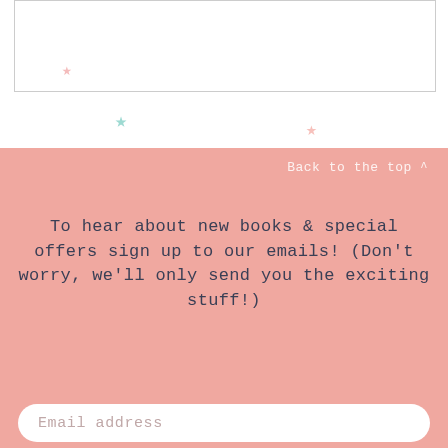[Figure (illustration): Top white section with decorative stars: a small pink star inside a bordered box, a teal/mint star below-left, and a pink star below-right, on white background]
Back to the top ^
To hear about new books & special offers sign up to our emails! (Don't worry, we'll only send you the exciting stuff!)
Email address